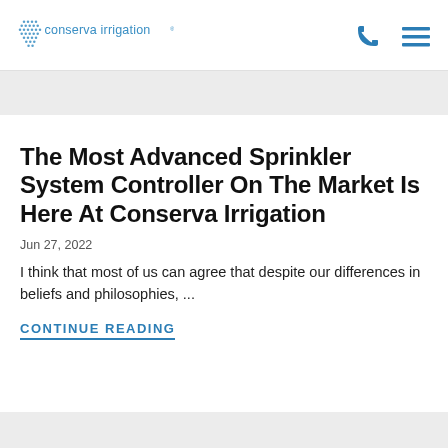[Figure (logo): Conserva Irrigation logo with blue dot grid pattern and teal/blue text]
The Most Advanced Sprinkler System Controller On The Market Is Here At Conserva Irrigation
Jun 27, 2022
I think that most of us can agree that despite our differences in beliefs and philosophies, ...
CONTINUE READING